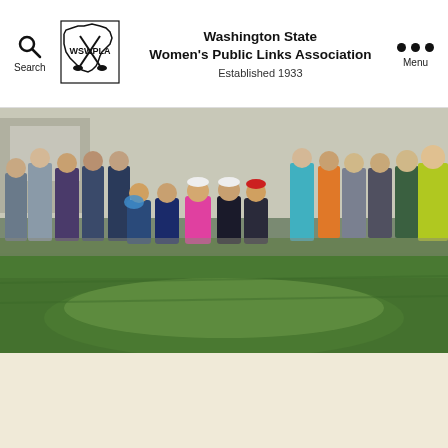Washington State Women's Public Links Association Established 1933
[Figure (photo): Group photo of women golfers standing and kneeling in front of a building with a green lawn in the foreground. Overcast day. A banner reading 'Established 1933' is partially visible in the background.]